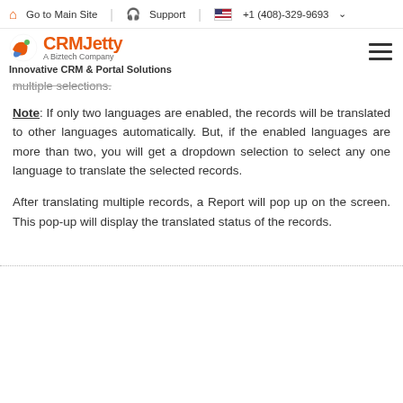Go to Main Site   Support   +1 (408)-329-9693
CRMJetty A Biztech Company — Innovative CRM & Portal Solutions
multiple selections.
Note: If only two languages are enabled, the records will be translated to other languages automatically. But, if the enabled languages are more than two, you will get a dropdown selection to select any one language to translate the selected records.
After translating multiple records, a Report will pop up on the screen. This pop-up will display the translated status of the records.